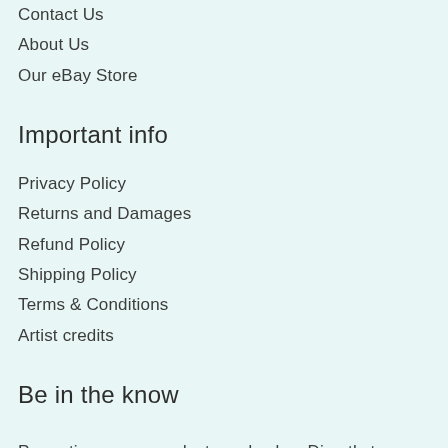Contact Us
About Us
Our eBay Store
Important info
Privacy Policy
Returns and Damages
Refund Policy
Shipping Policy
Terms & Conditions
Artist credits
Be in the know
Promotions, new products and sales. Directly to your inbox